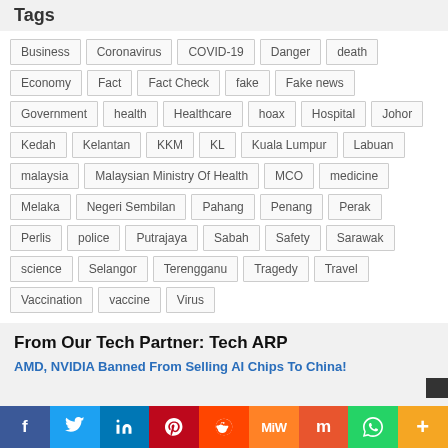Tags
Business
Coronavirus
COVID-19
Danger
death
Economy
Fact
Fact Check
fake
Fake news
Government
health
Healthcare
hoax
Hospital
Johor
Kedah
Kelantan
KKM
KL
Kuala Lumpur
Labuan
malaysia
Malaysian Ministry Of Health
MCO
medicine
Melaka
Negeri Sembilan
Pahang
Penang
Perak
Perlis
police
Putrajaya
Sabah
Safety
Sarawak
science
Selangor
Terengganu
Tragedy
Travel
Vaccination
vaccine
Virus
From Our Tech Partner: Tech ARP
AMD, NVIDIA Banned From Selling AI Chips To China!